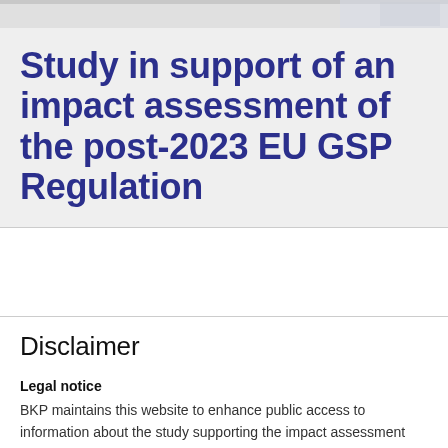[Figure (photo): Decorative header image strip with faint background imagery]
Study in support of an impact assessment of the post-2023 EU GSP Regulation
Disclaimer
Legal notice
BKP maintains this website to enhance public access to information about the study supporting the impact assessment